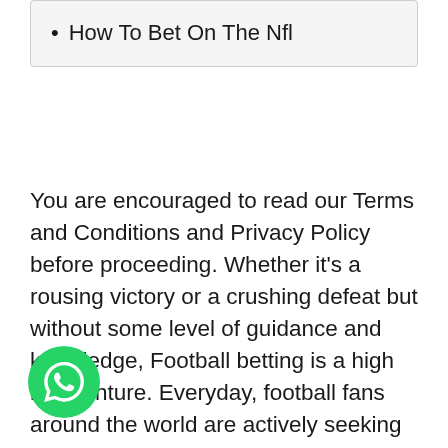How To Bet On The Nfl
You are encouraged to read our Terms and Conditions and Privacy Policy before proceeding. Whether it's a rousing victory or a crushing defeat but without some level of guidance and knowledge, Football betting is a high risk venture. Everyday, football fans around the world are actively seeking for websites and platforms that offer accurate predictions and profits over the long term. At Superbettips, we give you the edge over other gamblers by providing well researched football match predictions properly categorised in different outcome slots with the added bonus of financial gain. NHL Money Line Betting is the simplest way in which you can bet on an NHL game.